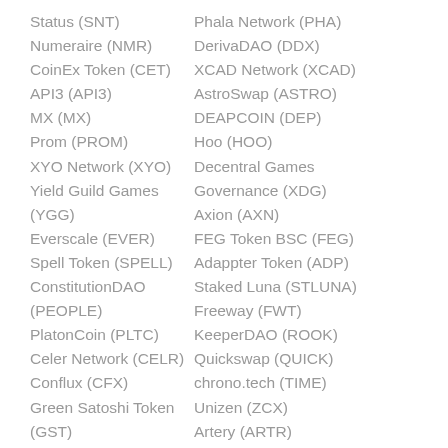Status (SNT)
Numeraire (NMR)
CoinEx Token (CET)
API3 (API3)
MX (MX)
Prom (PROM)
XYO Network (XYO)
Yield Guild Games (YGG)
Everscale (EVER)
Spell Token (SPELL)
ConstitutionDAO (PEOPLE)
PlatonCoin (PLTC)
Celer Network (CELR)
Conflux (CFX)
Green Satoshi Token (GST)
Ardor (ARDR)
TitanSwap (TITAN)
Phala Network (PHA)
DerivaDAO (DDX)
XCAD Network (XCAD)
AstroSwap (ASTRO)
DEAPCOIN (DEP)
Hoo (HOO)
Decentral Games Governance (XDG)
Axion (AXN)
FEG Token BSC (FEG)
Adappter Token (ADP)
Staked Luna (STLUNA)
Freeway (FWT)
KeeperDAO (ROOK)
Quickswap (QUICK)
chrono.tech (TIME)
Unizen (ZCX)
Artery (ARTR)
Einsteinium (EMC2)